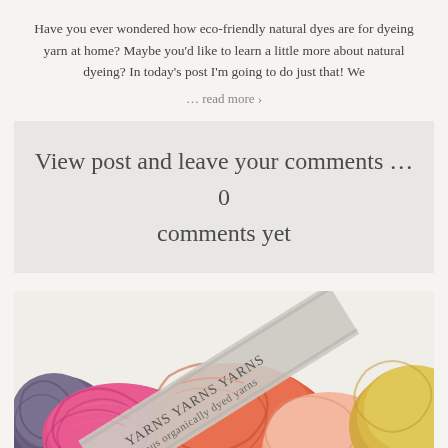Have you ever wondered how eco-friendly natural dyes are for dyeing yarn at home? Maybe you'd like to learn a little more about natural dyeing? In today's post I'm going to do just that! We
... read more ›
View post and leave your comments … 0 comments yet
[Figure (photo): Colorful skeins of yarn in pink, orange, peach, and yellow/gold colors arranged together with a label band crossing diagonally over them]